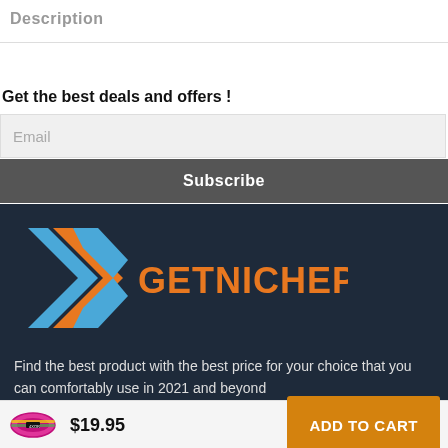Description
Get the best deals and offers !
[Figure (screenshot): Email input field with placeholder text 'Email' on light gray background]
Subscribe
[Figure (logo): GetNichePlus logo on dark navy background - geometric arrow/chevron shape in blue and orange, with GETNICHEPLUS text in orange bold font]
Find the best product with the best price for your choice that you can comfortably use in 2021 and beyond
[Figure (photo): Pink resistance band/hip band product image]
$19.95
ADD TO CART